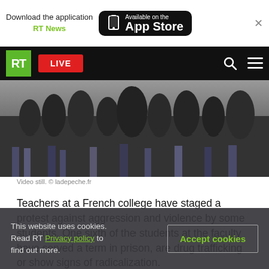[Figure (screenshot): App Store download banner with RT News label and phone icon]
[Figure (screenshot): RT website navigation bar with logo, LIVE button, search and menu icons]
[Figure (photo): Video still showing a crowd of people, likely students, from ladepeche.fr]
Video still. © ladepeche.fr
Teachers at a French college have staged a protest against aggression and violence by some students. One sixth of the students at the faculty have served a term in prison, are drug trafficking or show signs of radicalization.
About sixty teachers gathered in front of Joseph-
This website uses cookies. Read RT Privacy policy to find out more.